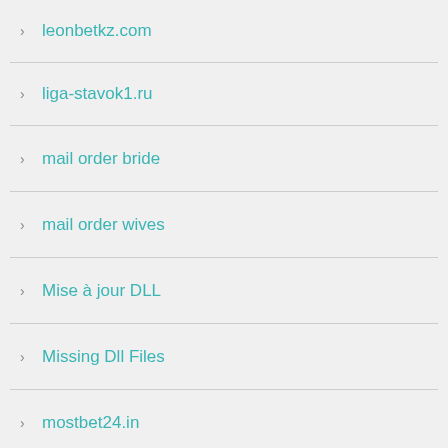leonbetkz.com
liga-stavok1.ru
mail order bride
mail order wives
Mise à jour DLL
Missing Dll Files
mostbet24.in
N1 Casino